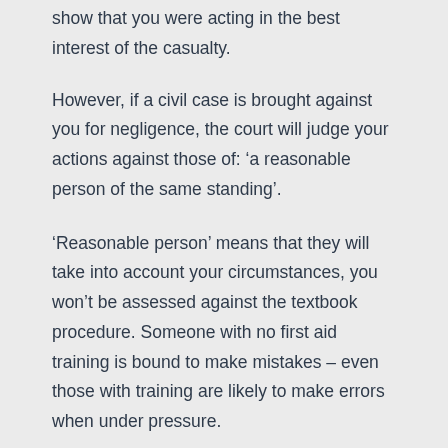show that you were acting in the best interest of the casualty.
However, if a civil case is brought against you for negligence, the court will judge your actions against those of: ‘a reasonable person of the same standing’.
‘Reasonable person’ means that they will take into account your circumstances, you won’t be assessed against the textbook procedure. Someone with no first aid training is bound to make mistakes – even those with training are likely to make errors when under pressure.
Your training may only have covered the basics